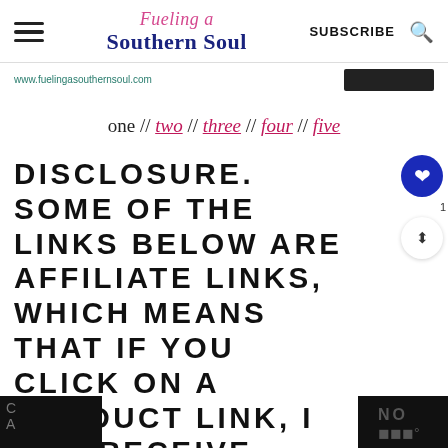Fueling a Southern Soul — SUBSCRIBE
www.fuelingasouthernsoul.com
one // two // three // four // five
DISCLOSURE. SOME OF THE LINKS BELOW ARE AFFILIATE LINKS, WHICH MEANS THAT IF YOU CLICK ON A PRODUCT LINK, I MAY RECEIVE COMPENSATION. THIS